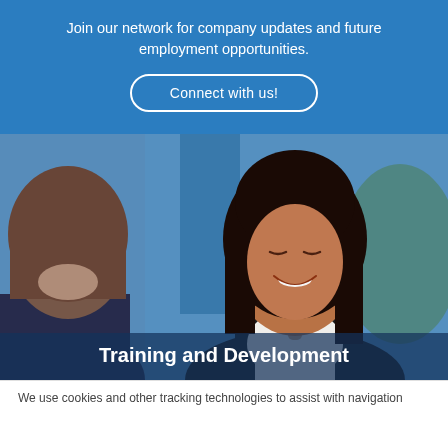Join our network for company updates and future employment opportunities.
Connect with us!
[Figure (photo): Two women in a professional setting; one smiling woman with long dark hair in a white top is visible in the foreground, another woman seen from behind in the left foreground. Blue background.]
Training and Development
We use cookies and other tracking technologies to assist with navigation